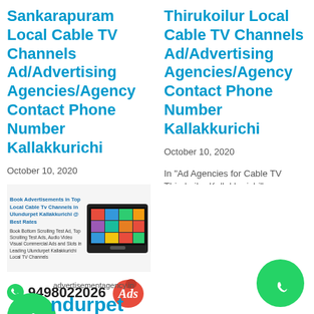Sankarapuram Local Cable TV Channels Ad/Advertising Agencies/Agency Contact Phone Number Kallakkurichi
Thirukoilur Local Cable TV Channels Ad/Advertising Agencies/Agency Contact Phone Number Kallakkurichi
October 10, 2020
In "Ad Agencies for Cable TV Sankarapuram Kallakkurichi"
October 10, 2020
In "Ad Agencies for Cable TV Thirukoilur Kallakkurichi"
[Figure (infographic): Advertisement block for booking local cable TV ads in Ulundurpet Kallakkurichi with WhatsApp number 9498022026, Ads logo, WhatsApp icon, and phone icon]
Ulundurpet Local Cable TV